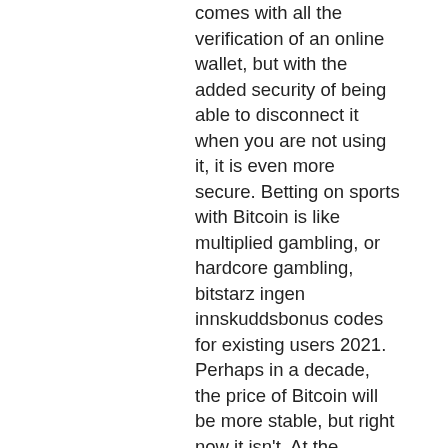comes with all the verification of an online wallet, but with the added security of being able to disconnect it when you are not using it, it is even more secure. Betting on sports with Bitcoin is like multiplied gambling, or hardcore gambling, bitstarz ingen innskuddsbonus codes for existing users 2021. Perhaps in a decade, the price of Bitcoin will be more stable, but right now it isn't. At the moment few betting sites accept this as a payment option but the growing value of Bitcoin and surge in currency mining has encouraged more betting sites to add this to their payment options. In the coming years we expect more betting sites to have this as a payment and withdrawal option, bitstarz ingen insättningsbonus 20 ücretsiz döndürme. To find out more about this popular Bitcoin casino site, read our full Bitstarz review, bitstarz ingen insättningsbonus 20 tours gratuits. Experienced crypto casino players may